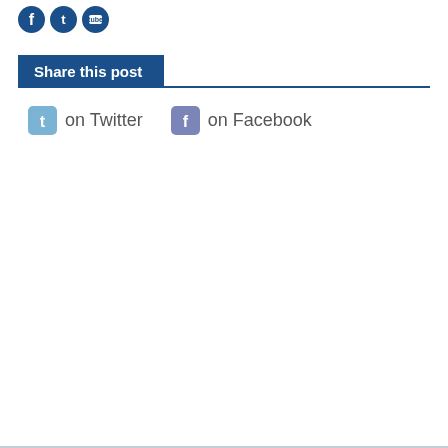[Figure (logo): Three dark blue circular social media icons (Facebook, Twitter, YouTube) in a row at top left]
Share this post
on Twitter  on Facebook